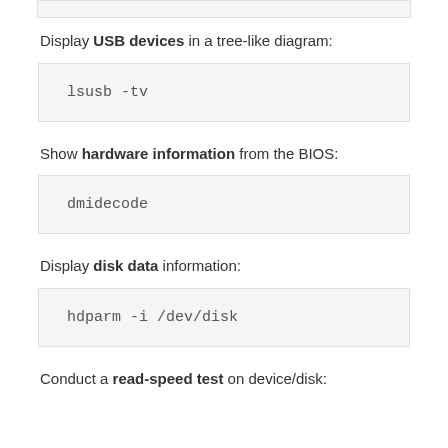Display USB devices in a tree-like diagram:
lsusb -tv
Show hardware information from the BIOS:
dmidecode
Display disk data information:
hdparm -i /dev/disk
Conduct a read-speed test on device/disk: